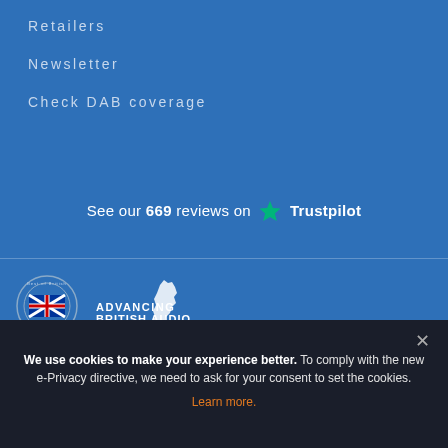Retailers
Newsletter
Check DAB coverage
See our 669 reviews on ★ Trustpilot
[Figure (logo): Award badge logo - Best of British Audio & Electronics circular badge with UK flag]
[Figure (logo): Advancing British Audio logo with UK map silhouette, text: ADVANCING BRITISH AUDIO, OVER 25 YEARS OF EXPERTISE]
© Azatom Group Limited 2021 All rights reserved. Azatom is a reg...
We use cookies to make your experience better. To comply with the new e-Privacy directive, we need to ask for your consent to set the cookies. Learn more.